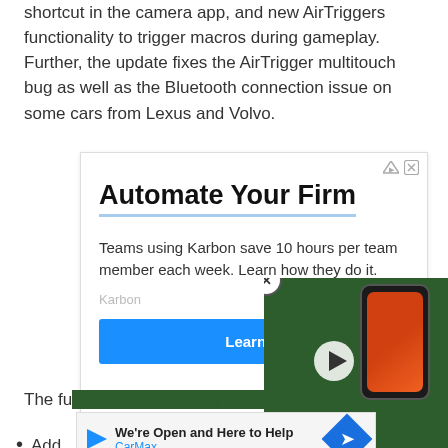shortcut in the camera app, and new AirTriggers functionality to trigger macros during gameplay. Further, the update fixes the AirTrigger multitouch bug as well as the Bluetooth connection issue on some cars from Lexus and Volvo.
[Figure (screenshot): Advertisement banner for Karbon with title 'Automate Your Firm', body text 'Teams using Karbon save 10 hours per team member each week. Learn how they do it.', brand label 'Karbon', and a blue 'Learn M...' button. Ad icons (triangle and X) in top right corner.]
[Figure (screenshot): Video overlay showing a smartphone with orange screen on green background, with white play button triangle, close (X) button in top-left, and bold white text 'VILLAIN?' at the bottom.]
The full update changelog is as follows:
[Figure (screenshot): Bottom advertisement banner: triangle play icon, text 'We're Open and Here to Help' with 'CarMax' in blue below, and a blue diamond-shaped CarMax logo with right-arrow icon.]
Add